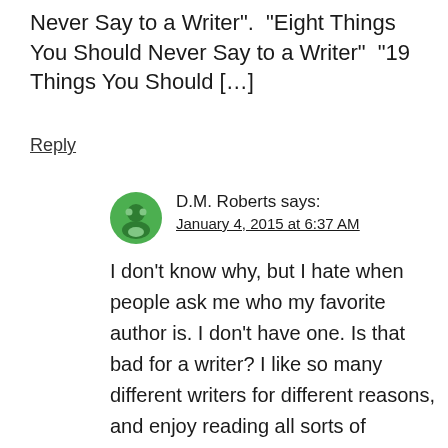Never Say to a Writer".  “Eight Things You Should Never Say to a Writer”  “19 Things You Should […]
Reply
D.M. Roberts says: January 4, 2015 at 6:37 AM
I don’t know why, but I hate when people ask me who my favorite author is. I don’t have one. Is that bad for a writer? I like so many different writers for different reasons, and enjoy reading all sorts of genres, so I don’t have that one person I hold up as my “favorite author.” Plus I have several friends who read great books and give me